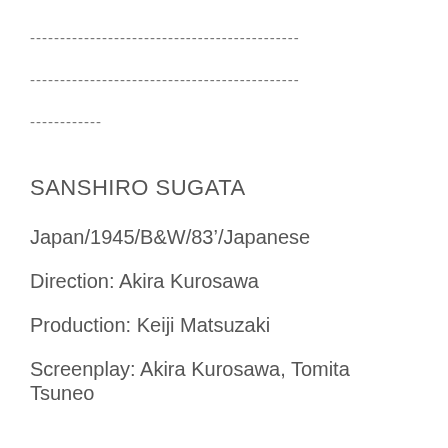---------------------------------------------
---------------------------------------------
------------
SANSHIRO SUGATA
Japan/1945/B&W/83'/Japanese
Direction: Akira Kurosawa
Production: Keiji Matsuzaki
Screenplay: Akira Kurosawa, Tomita Tsuneo